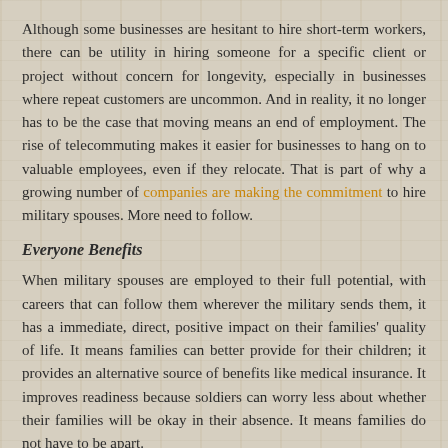Although some businesses are hesitant to hire short-term workers, there can be utility in hiring someone for a specific client or project without concern for longevity, especially in businesses where repeat customers are uncommon. And in reality, it no longer has to be the case that moving means an end of employment. The rise of telecommuting makes it easier for businesses to hang on to valuable employees, even if they relocate. That is part of why a growing number of companies are making the commitment to hire military spouses. More need to follow.
Everyone Benefits
When military spouses are employed to their full potential, with careers that can follow them wherever the military sends them, it has a immediate, direct, positive impact on their families' quality of life. It means families can better provide for their children; it provides an alternative source of benefits like medical insurance. It improves readiness because soldiers can worry less about whether their families will be okay in their absence. It means families do not have to be apart.